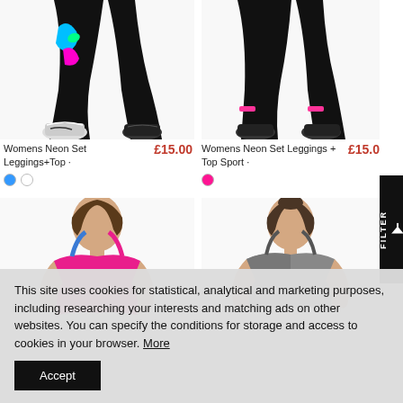[Figure (photo): Woman wearing black leggings with neon pattern and white Nike sneakers, cropped at torso/legs]
Womens Neon Set Leggings+Top ·
£15.00
[Figure (photo): Woman wearing black leggings with pink detail and black sneakers, cropped at torso/legs]
Womens Neon Set Leggings + Top Sport ·
£15.00
[Figure (photo): Woman wearing hot pink sports bra top, partial view cropped]
[Figure (photo): Woman wearing grey sports bra top, partial view cropped]
This site uses cookies for statistical, analytical and marketing purposes, including researching your interests and matching ads on other websites. You can specify the conditions for storage and access to cookies in your browser. More
Accept